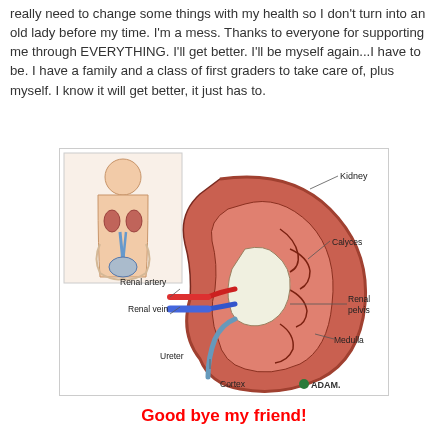really need to change some things with my health so I don't turn into an old lady before my time. I'm a mess. Thanks to everyone for supporting me through EVERYTHING. I'll get better. I'll be myself again...I have to be. I have a family and a class of first graders to take care of, plus myself. I know it will get better, it just has to.
[Figure (illustration): Anatomical diagram of a kidney cross-section labeled with: Kidney, Calyces, Renal artery, Renal pelvis, Renal vein, Medulla, Ureter, Cortex. Inset shows urinary system with kidneys in body. ADAM logo in bottom right.]
Good bye my friend!